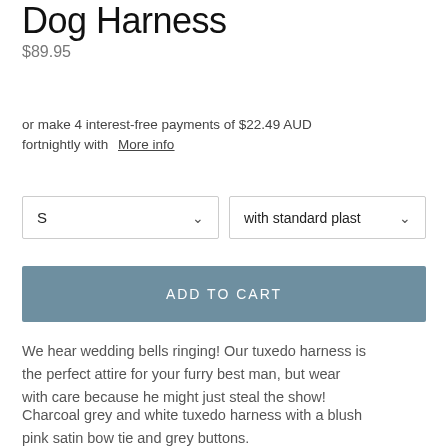Dog Harness
$89.95
or make 4 interest-free payments of $22.49 AUD fortnightly with  More info
S  |  with standard plast
ADD TO CART
We hear wedding bells ringing! Our tuxedo harness is the perfect attire for your furry best man, but wear with care because he might just steal the show!
Charcoal grey and white tuxedo harness with a blush pink satin bow tie and grey buttons. Other bow tie colours available upon request.